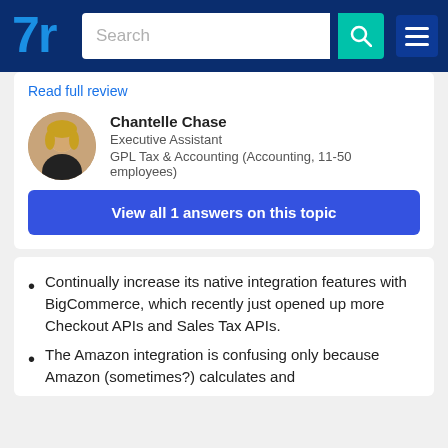TrustRadius navigation bar with logo, search bar, and menu
Read full review
Chantelle Chase
Executive Assistant
GPL Tax & Accounting (Accounting, 11-50 employees)
View all 1 answers on this topic
Continually increase its native integration features with BigCommerce, which recently just opened up more Checkout APIs and Sales Tax APIs.
The Amazon integration is confusing only because Amazon (sometimes?) calculates and